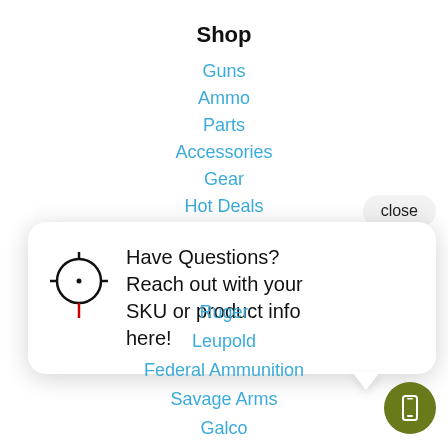Shop
Guns
Ammo
Parts
Accessories
Gear
Hot Deals
close
[Figure (other): Popup chat widget with crosshair/target icon and text: Have Questions? Reach out with your SKU or product info here!]
Ruger
Leupold
Federal Ammunition
Savage Arms
Galco